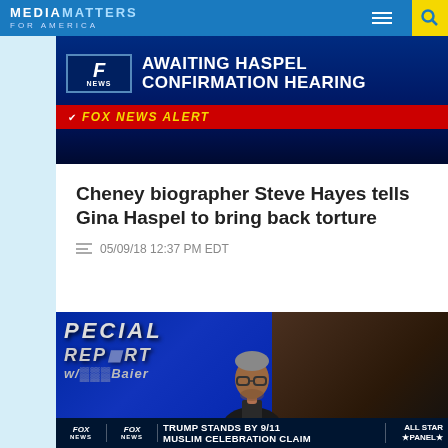MEDIA MATTERS FOR AMERICA
[Figure (screenshot): Fox News broadcast screenshot showing 'AWAITING HASPEL CONFIRMATION HEARING' with Fox News Alert banner in red]
Cheney biographer Steve Hayes tells Gina Haspel to bring back torture
05/09/18 12:37 PM EDT
[Figure (screenshot): Fox News Special Report with Bret Baier screenshot showing a man (Steve Hayes) on the panel. Bottom ticker reads: TRUMP STANDS BY 9/11 MUSLIM CELEBRATION CLAIM. ALL STAR PANEL label visible.]